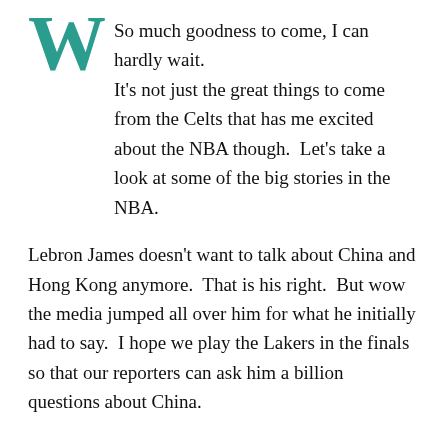W So much goodness to come, I can hardly wait. It's not just the great things to come from the Celts that has me excited about the NBA though. Let's take a look at some of the big stories in the NBA.
Lebron James doesn't want to talk about China and Hong Kong anymore. That is his right. But wow the media jumped all over him for what he initially had to say. I hope we play the Lakers in the finals so that our reporters can ask him a billion questions about China.
“
LeBron James says he and his Lakers teammates didn’t have enough information to comment on situation